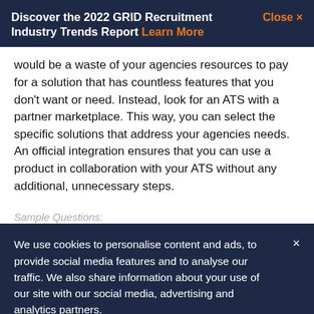Discover the 2022 GRID Recruitment Industry Trends Report Learn More   Close ×
would be a waste of your agencies resources to pay for a solution that has countless features that you don't want or need. Instead, look for an ATS with a partner marketplace. This way, you can select the specific solutions that address your agencies needs. An official integration ensures that you can use a product in collaboration with your ATS without any additional, unnecessary steps.
Sample Questions:
We use cookies to personalise content and ads, to provide social media features and to analyse our traffic. We also share information about your use of our site with our social media, advertising and analytics partners.
Cookies Settings